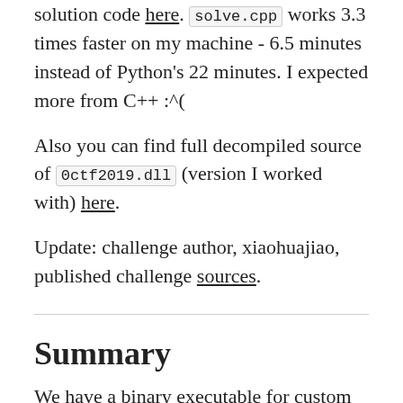solution code here. solve.cpp works 3.3 times faster on my machine - 6.5 minutes instead of Python's 22 minutes. I expected more from C++ :^(
Also you can find full decompiled source of 0ctf2019.dll (version I worked with) here.
Update: challenge author, xiaohuajiao, published challenge sources.
Summary
We have a binary executable for custom virtual machine, and IDA processor module for this VM. By reverse engineering processor module we can recover information about VM instruction set. After